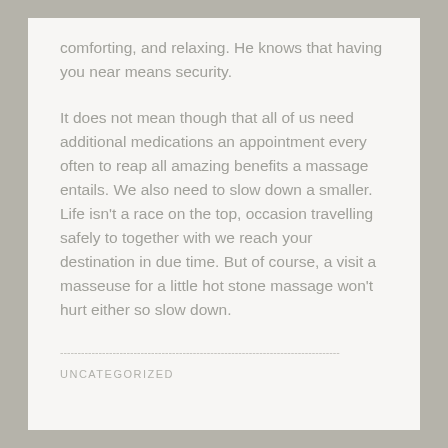comforting, and relaxing. He knows that having you near means security.
It does not mean though that all of us need additional medications an appointment every often to reap all amazing benefits a massage entails. We also need to slow down a smaller. Life isn't a race on the top, occasion travelling safely to together with we reach your destination in due time. But of course, a visit a masseuse for a little hot stone massage won't hurt either so slow down.
--------------------------------------------------------------------------------
UNCATEGORIZED